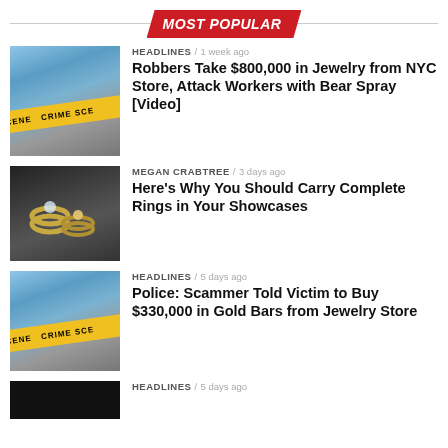MOST POPULAR
[Figure (photo): Crime scene tape photo]
HEADLINES / 1 week ago
Robbers Take $800,000 in Jewelry from NYC Store, Attack Workers with Bear Spray [Video]
[Figure (photo): Diamond rings on black display]
MEGAN CRABTREE / 3 days ago
Here's Why You Should Carry Complete Rings in Your Showcases
[Figure (photo): Crime scene tape photo]
HEADLINES / 5 days ago
Police: Scammer Told Victim to Buy $330,000 in Gold Bars from Jewelry Store
[Figure (photo): Dark photo partially visible]
HEADLINES / 5 days ago